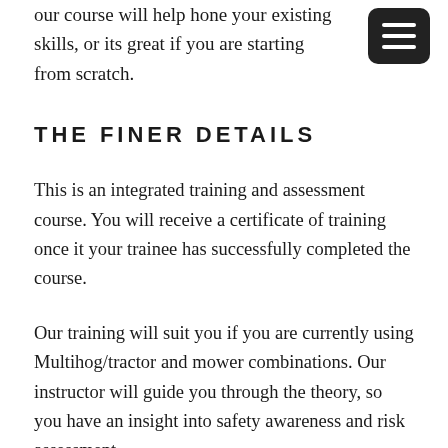our course will help hone your existing skills, or its great if you are starting from scratch.
THE FINER DETAILS
This is an integrated training and assessment course. You will receive a certificate of training once it your trainee has successfully completed the course.
Our training will suit you if you are currently using Multihog/tractor and mower combinations. Our instructor will guide you through the theory, so you have an insight into safety awareness and risk assessment.